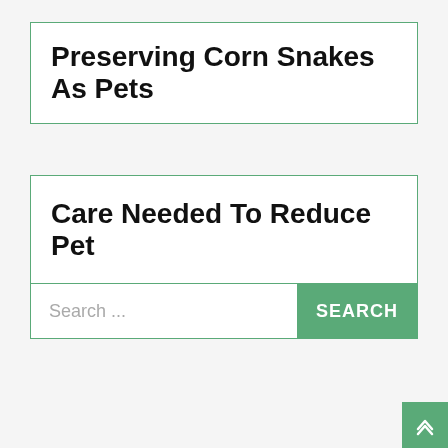Preserving Corn Snakes As Pets
Care Needed To Reduce Pet
Search ...